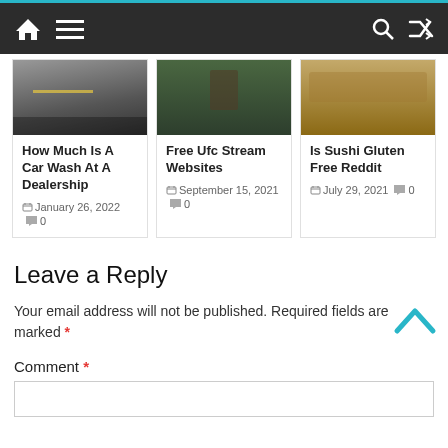Navigation bar with home, menu, search, shuffle icons
[Figure (photo): Card image: parking garage interior]
How Much Is A Car Wash At A Dealership
January 26, 2022  0
[Figure (photo): Card image: UFC fighter with championship belt]
Free Ufc Stream Websites
September 15, 2021  0
[Figure (photo): Card image: sushi rolls on wooden board]
Is Sushi Gluten Free Reddit
July 29, 2021  0
Leave a Reply
Your email address will not be published. Required fields are marked *
Comment *